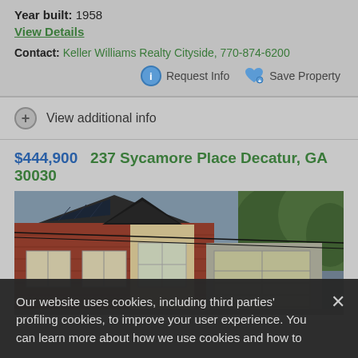Year built: 1958
View Details
Contact: Keller Williams Realty Cityside, 770-874-6200
Request Info
Save Property
View additional info
$444,900  237 Sycamore Place Decatur, GA 30030
[Figure (photo): Exterior photo of a red brick house at 237 Sycamore Place Decatur, GA 30030]
Our website uses cookies, including third parties' profiling cookies, to improve your user experience. You can learn more about how we use cookies and how to